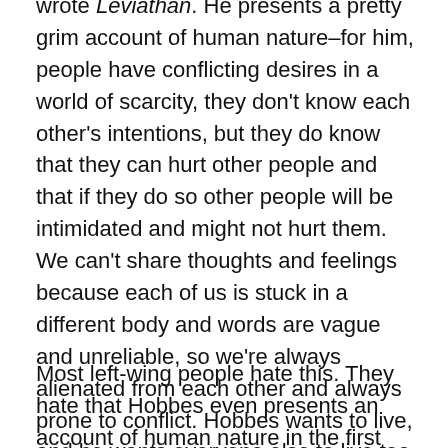wrote Leviathan. He presents a pretty grim account of human nature–for him, people have conflicting desires in a world of scarcity, they don't know each other's intentions, but they do know that they can hurt other people and that if they do so other people will be intimidated and might not hurt them. We can't share thoughts and feelings because each of us is stuck in a different body and words are vague and unreliable, so we're always alienated from each other and always prone to conflict. Hobbes wants to live, and he wants everyone else to live too, so he proposes that we solve this problem by submitting to the state. The state protects us from each other, and once we're protected a space for trusting other people opens up.
Most left-wing people hate this. They hate that Hobbes even presents an account of human nature in the first